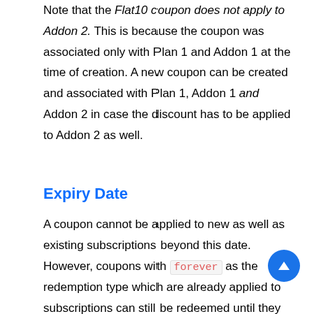Note that the Flat10 coupon does not apply to Addon 2. This is because the coupon was associated only with Plan 1 and Addon 1 at the time of creation. A new coupon can be created and associated with Plan 1, Addon 1 and Addon 2 in case the discount has to be applied to Addon 2 as well.
Expiry Date
A coupon cannot be applied to new as well as existing subscriptions beyond this date. However, coupons with forever as the redemption type which are already applied to subscriptions can still be redeemed until they are manually removed.